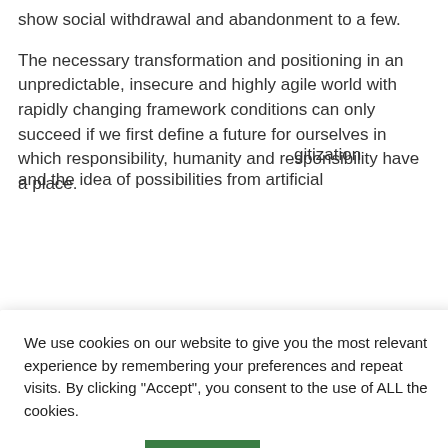show social withdrawal and abandonment to a few.
The necessary transformation and positioning in an unpredictable, insecure and highly agile world with rapidly changing framework conditions can only succeed if we first define a future for ourselves in which responsibility, humanity and responsibility have a place.
We use cookies on our website to give you the most relevant experience by remembering your preferences and repeat visits. By clicking “Accept”, you consent to the use of ALL the cookies.
Cookie settings
ACCEPT
n order for the
ic
gitization and the idea of possibilities from artificial